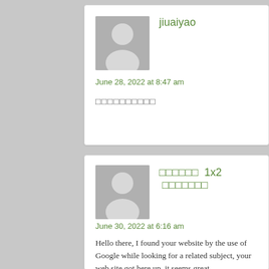[Figure (photo): Gray placeholder avatar silhouette for user jiuaiyao]
jiuaiyao
June 28, 2022 at 8:47 am
□□□□□□□□□□
[Figure (photo): Gray placeholder avatar silhouette for second user]
□□□□□□  1x2  □□□□□□□
June 30, 2022 at 6:16 am
Hello there, I found your website by the use of Google while looking for a related subject, your web site got here up, it seems great.
I have bookmarked it in my google bookmarks.
Hello there, simply turned into aware of your blog thru
Google, and located that it is really informative. I am going to be careful for bruss-

I'll appreciate for those who continue this in future.